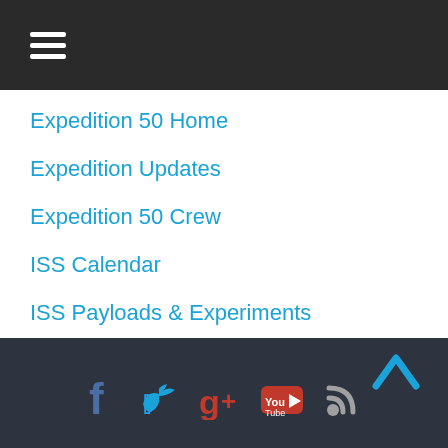Navigation menu (hamburger icon)
Expedition 50 Home
Expedition Updates
Expedition 50 Crew
ISS Calendar
ISS Payloads & Experiments
Social media icons: Facebook, Twitter, Google+, YouTube, RSS; Up arrow